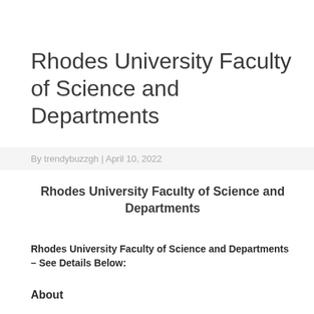Rhodes University Faculty of Science and Departments
By trendybuzzgh | April 10, 2022
Rhodes University Faculty of Science and Departments
Rhodes University Faculty of Science and Departments – See Details Below:
About